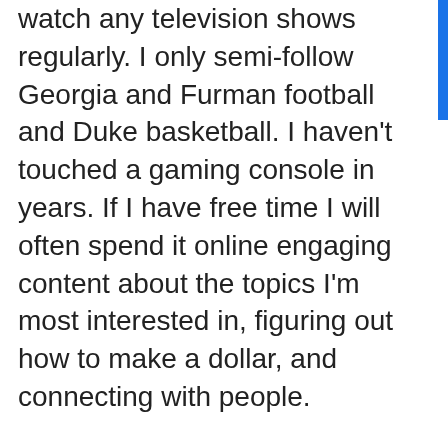watch any television shows regularly. I only semi-follow Georgia and Furman football and Duke basketball. I haven't touched a gaming console in years. If I have free time I will often spend it online engaging content about the topics I'm most interested in, figuring out how to make a dollar, and connecting with people.
I always love trying out the latest gadgets and websites (the most recent of which I'm trying is FourSquare), and over the years I've certainly seen many tech things come and go. Remember Napster, AIM, Hotmail, My Yahoo, and mp3.com?